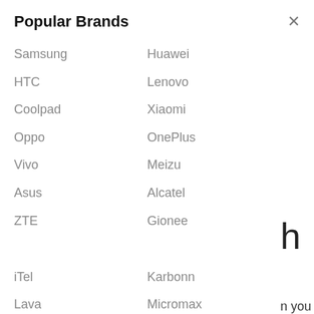Popular Brands
Samsung
Huawei
HTC
Lenovo
Coolpad
Xiaomi
Oppo
OnePlus
Vivo
Meizu
Asus
Alcatel
ZTE
Gionee
iTel
Karbonn
Lava
Micromax
Symphony
Walton
n you rmware re to guide